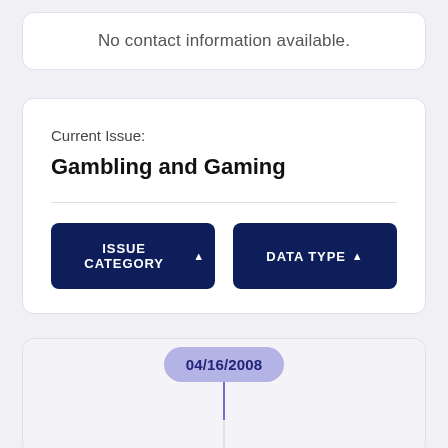No contact information available.
Current Issue:
Gambling and Gaming
ISSUE CATEGORY ▲
DATA TYPE ▲
04/16/2008